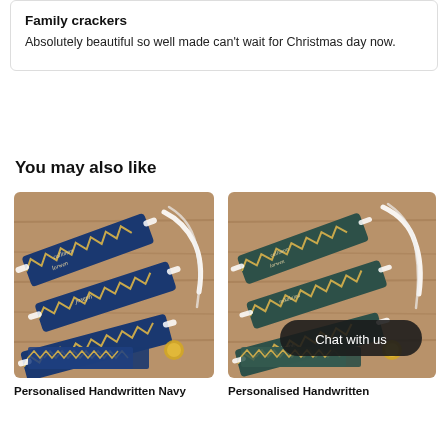Family crackers
Absolutely beautiful so well made can’t wait for Christmas day now.
You may also like
[Figure (photo): Personalised handwritten navy Christmas crackers laid flat on a wooden surface, with gold zigzag pattern and white ribbon ties]
[Figure (photo): Personalised handwritten dark green Christmas crackers laid flat on a wooden surface, with gold zigzag pattern and white ribbon ties, with a 'Chat with us' button overlay]
Personalised Handwritten Navy
Personalised Handwritten